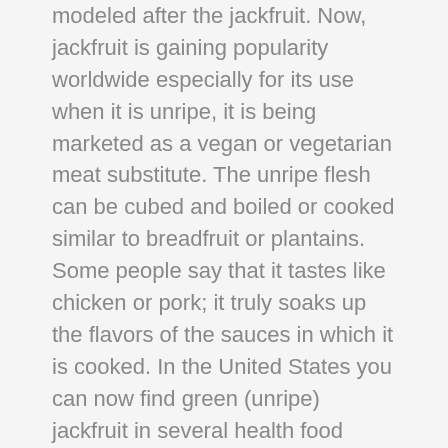modeled after the jackfruit. Now, jackfruit is gaining popularity worldwide especially for its use when it is unripe, it is being marketed as a vegan or vegetarian meat substitute. The unripe flesh can be cubed and boiled or cooked similar to breadfruit or plantains. Some people say that it tastes like chicken or pork; it truly soaks up the flavors of the sauces in which it is cooked. In the United States you can now find green (unripe) jackfruit in several health food cafes served in dishes like Vegetarian pulled pork sandwiches or tacos and in stores as prepared and frozen meat replacements. It is also sold in cans in water or brine. The seeds are also edible and a great source of protein when they are boiled and the hard shells removed.
Ripe jackfruit is a also a wonderful edible experience. The ripe pulp is great eaten raw in its natural state. It